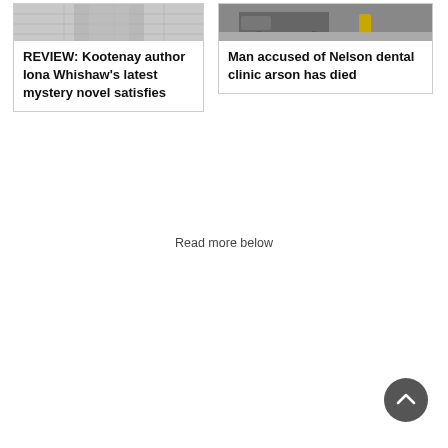[Figure (photo): Photo of a man in a plaid/checkered shirt, black and white tones]
REVIEW: Kootenay author Iona Whishaw's latest mystery novel satisfies
[Figure (photo): Photo of a street scene with a van and yellow bollard]
Man accused of Nelson dental clinic arson has died
Read more below